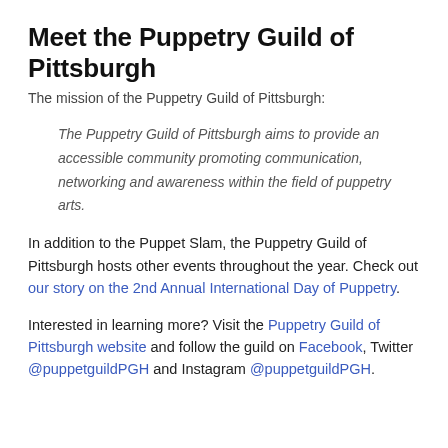Meet the Puppetry Guild of Pittsburgh
The mission of the Puppetry Guild of Pittsburgh:
The Puppetry Guild of Pittsburgh aims to provide an accessible community promoting communication, networking and awareness within the field of puppetry arts.
In addition to the Puppet Slam, the Puppetry Guild of Pittsburgh hosts other events throughout the year. Check out our story on the 2nd Annual International Day of Puppetry.
Interested in learning more? Visit the Puppetry Guild of Pittsburgh website and follow the guild on Facebook, Twitter @puppetguildPGH and Instagram @puppetguildPGH.